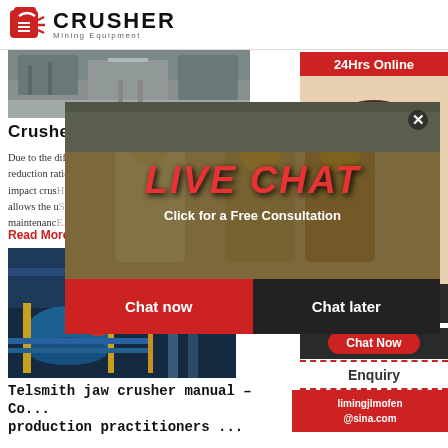CRUSHER Mining Equipment
[Figure (photo): Crusher/mining equipment facility exterior photo]
Crushers
Due to the different principle of crushing these materials, the reduction ratio is higher than in jaw crushers. M... impact crus... allows the u... maintenanc...
Read More
[Figure (photo): Industrial crusher machinery in operation with blue and yellow components]
Telsmith jaw crusher manual - Co... production practitioners ...
[Figure (screenshot): Live chat popup overlay with workers in yellow helmets, LIVE CHAT title, Chat now and Chat later buttons]
[Figure (photo): Customer service representative with headset - 24Hrs Online sidebar]
Need questions & suggestion?
Chat Now
Enquiry
limingjlmofen@sina.com